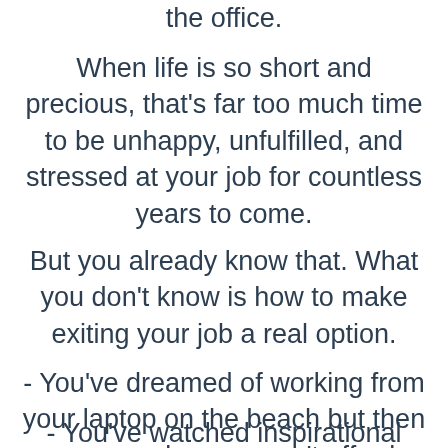the office.
When life is so short and precious, that's far too much time to be unhappy, unfulfilled, and stressed at your job for countless years to come.
But you already know that. What you don't know is how to make exiting your job a real option.
- You've dreamed of working from your laptop on the beach but then you remember you can't afford a beach trip without your steady paycheck.
- You've watched inspirational